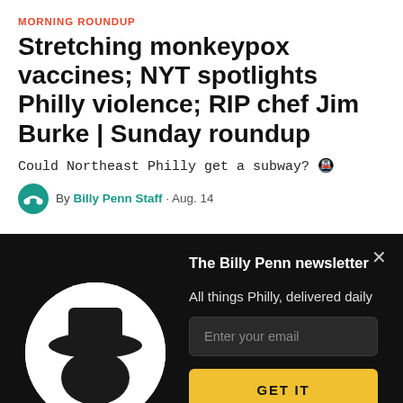MORNING ROUNDUP
Stretching monkeypox vaccines; NYT spotlights Philly violence; RIP chef Jim Burke | Sunday roundup
Could Northeast Philly get a subway? 🚇
By Billy Penn Staff · Aug. 14
The Billy Penn newsletter
All things Philly, delivered daily
Enter your email
GET IT